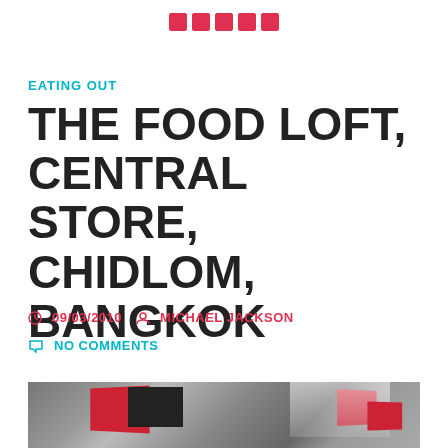[Figure (logo): Five red squares arranged in a row, forming a logo/header decoration]
EATING OUT
THE FOOD LOFT, CENTRAL STORE, CHIDLOM, BANGKOK
09/03/2010  MICHAEL JACKSON
NO COMMENTS
[Figure (photo): Interior photo of The Food Loft restaurant at Central Store Chidlom Bangkok, showing red angular ceiling panels/signboards, dark menu boards, metallic ceiling and lighting]